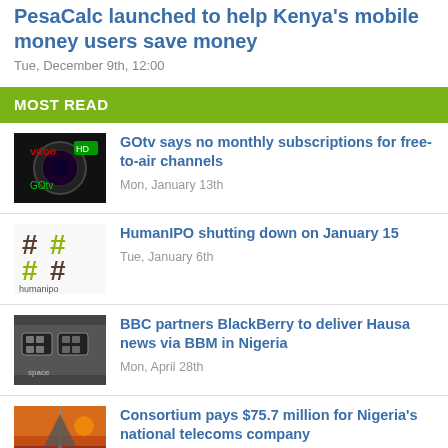PesaCalc launched to help Kenya's mobile money users save money
Tue, December 9th, 12:00
MOST READ
GOtv says no monthly subscriptions for free-to-air channels
Mon, January 13th
HumanIPO shutting down on January 15
Tue, January 6th
BBC partners BlackBerry to deliver Hausa news via BBM in Nigeria
Mon, April 28th
Consortium pays $75.7 million for Nigeria's national telecoms company
Fri, January 9th